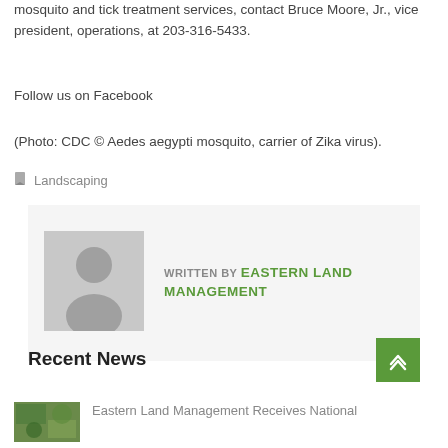mosquito and tick treatment services, contact Bruce Moore, Jr., vice president, operations, at 203-316-5433.
Follow us on Facebook
(Photo: CDC © Aedes aegypti mosquito, carrier of Zika virus).
Landscaping
WRITTEN BY EASTERN LAND MANAGEMENT
Recent News
Eastern Land Management Receives National